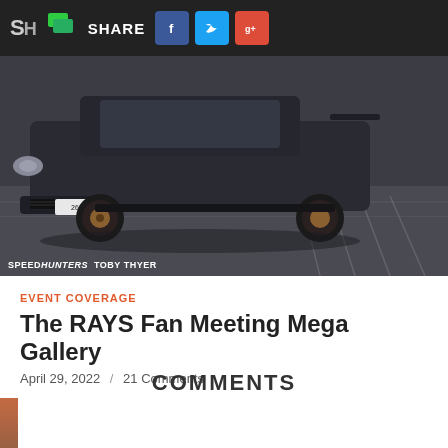SH SHARE [Facebook] [Twitter] [Google+]
[Figure (photo): Hero photo of a dark modified sports car (Mitsubishi Lancer Evolution) on a wet parking lot surface, shot from a low front angle. Watermark reads SPEEDHUNTERS TOBY THYER.]
EVENT COVERAGE
The RAYS Fan Meeting Mega Gallery
April 29, 2022  /  21 Comments
COMMENTS
Comments are closed.